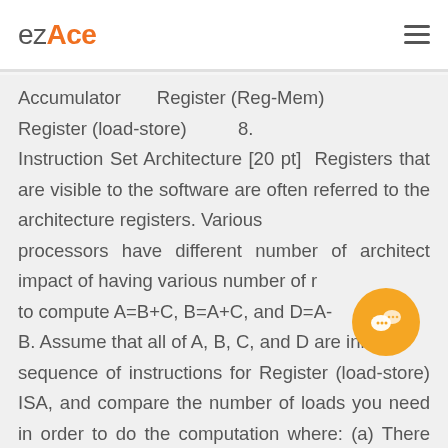ezAce
Accumulator       Register (Reg-Mem) Register (load-store)           8. Instruction Set Architecture [20 pt]  Registers that are visible to the software are often referred to the architecture registers. Various processors have different number of architect impact of having various number of r… to compute A=B+C, B=A+C, and D=A-B. Assume that all of A, B, C, and D are initially sequence of instructions for Register (load-store) ISA, and compare the number of loads you need in order to do the computation where: (a) There are 8 architecture registers…